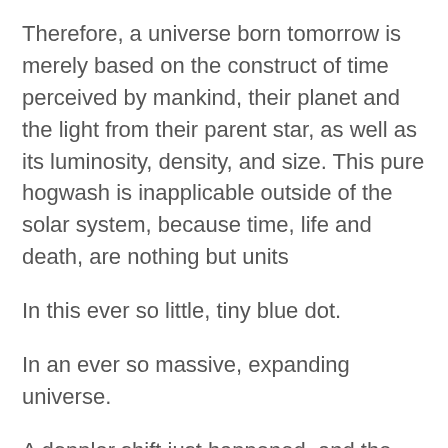Therefore, a universe born tomorrow is merely based on the construct of time perceived by mankind, their planet and the light from their parent star, as well as its luminosity, density, and size. This pure hogwash is inapplicable outside of the solar system, because time, life and death, are nothing but units
In this ever so little, tiny blue dot.
In an ever so massive, expanding universe.
A doppler shift just happened, and the universe has grown bigger.